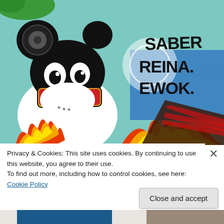[Figure (photo): Graffiti mural on a brick wall featuring a stylized Mickey Mouse character wearing sunglasses with flames, and text reading 'SABER REINA EWOK' in black graffiti lettering. Colorful mural with teal, blue, red, yellow and green colors.]
Privacy & Cookies: This site uses cookies. By continuing to use this website, you agree to their use.
To find out more, including how to control cookies, see here: Cookie Policy
Close and accept